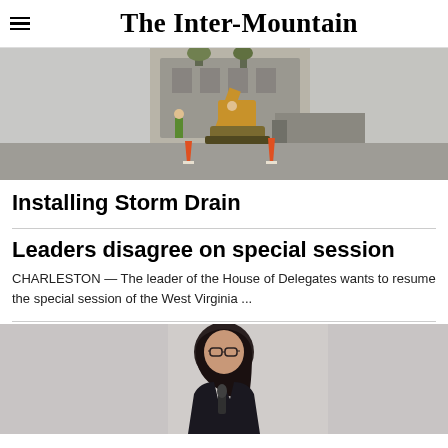The Inter-Mountain
[Figure (photo): Construction scene with excavator/backhoe on a street, orange traffic cones visible, workers in background, buildings behind.]
Installing Storm Drain
Leaders disagree on special session
CHARLESTON — The leader of the House of Delegates wants to resume the special session of the West Virginia ...
[Figure (photo): A woman with dark hair and glasses speaking at a podium or holding a microphone, wearing a dark jacket.]